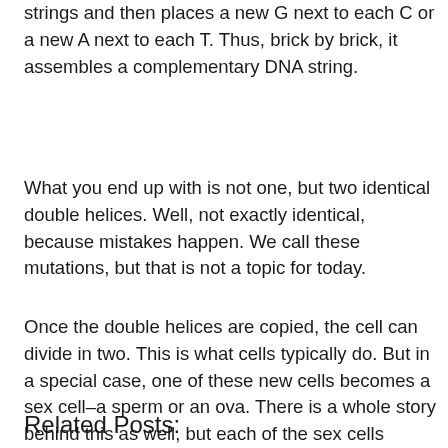strings and then places a new G next to each C or a new A next to each T. Thus, brick by brick, it assembles a complementary DNA string.
What you end up with is not one, but two identical double helices. Well, not exactly identical, because mistakes happen. We call these mutations, but that is not a topic for today.
Once the double helices are copied, the cell can divide in two. This is what cells typically do. But in a special case, one of these new cells becomes a sex cell–a sperm or an ova. There is a whole story behind this as well, but each of the sex cells contains the DNA. That, as you know, is a template for building our bodies, including the nose that you got from your parent.
Related Posts: